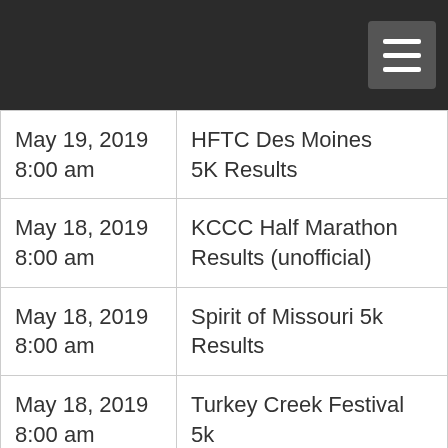| Date/Time | Event |
| --- | --- |
| May 19, 2019
8:00 am | HFTC Des Moines 5K Results |
| May 18, 2019
8:00 am | KCCC Half Marathon Results (unofficial) |
| May 18, 2019
8:00 am | Spirit of Missouri 5k Results |
| May 18, 2019
8:00 am | Turkey Creek Festival 5k |
| May 18, 2019
8:00 am | Spirit of Missouri 10k Results |
| May 18, 2019
7:30 am | Spirit of Missouri Half Marathon Results |